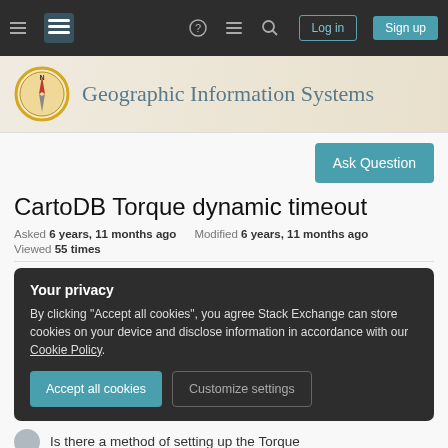Geographic Information Systems Stack Exchange — Navigation bar with Log in and Sign up buttons
[Figure (screenshot): Geographic Information Systems site banner with compass logo]
Ask Question
CartoDB Torque dynamic timeout
Asked 6 years, 11 months ago   Modified 6 years, 11 months ago   Viewed 55 times
Your privacy
By clicking "Accept all cookies", you agree Stack Exchange can store cookies on your device and disclose information in accordance with our Cookie Policy.
Accept all cookies   Customize settings
Is there a method of setting up the Torque